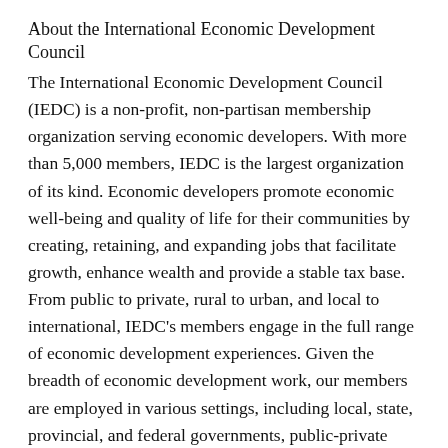About the International Economic Development Council
The International Economic Development Council (IEDC) is a non-profit, non-partisan membership organization serving economic developers. With more than 5,000 members, IEDC is the largest organization of its kind. Economic developers promote economic well-being and quality of life for their communities by creating, retaining, and expanding jobs that facilitate growth, enhance wealth and provide a stable tax base. From public to private, rural to urban, and local to international, IEDC's members engage in the full range of economic development experiences. Given the breadth of economic development work, our members are employed in various settings, including local, state, provincial, and federal governments, public-private partnerships, chambers of commerce, universities, and a variety of other institutions. When we succeed, our members create high-quality jobs,